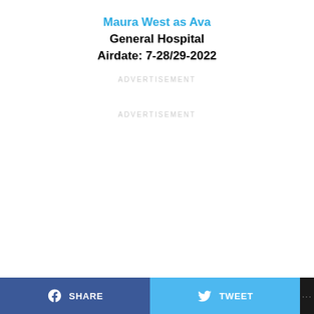Maura West as Ava
General Hospital
Airdate: 7-28/29-2022
ADVERTISEMENT
ADVERTISEMENT
SHARE   TWEET   ...